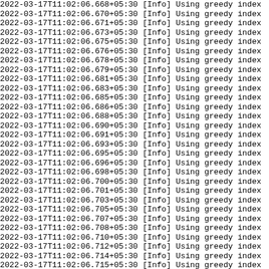Log output showing repeated lines: timestamp [Info] Using greedy index, from 2022-03-17T11:02:06.668+05:30 to 2022-03-17T11:02:06.717+05:30